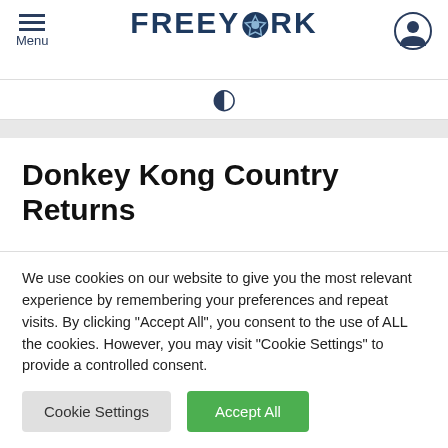Menu | FREEYORK
Donkey Kong Country Returns
Donkey Kong Country Returns, known as Donkey Kong Returns in Japan, is a side-scrolling platform
We use cookies on our website to give you the most relevant experience by remembering your preferences and repeat visits. By clicking "Accept All", you consent to the use of ALL the cookies. However, you may visit "Cookie Settings" to provide a controlled consent.